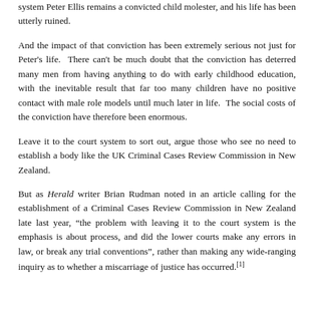system Peter Ellis remains a convicted child molester, and his life has been utterly ruined.
And the impact of that conviction has been extremely serious not just for Peter's life.  There can't be much doubt that the conviction has deterred many men from having anything to do with early childhood education, with the inevitable result that far too many children have no positive contact with male role models until much later in life.  The social costs of the conviction have therefore been enormous.
Leave it to the court system to sort out, argue those who see no need to establish a body like the UK Criminal Cases Review Commission in New Zealand.
But as Herald writer Brian Rudman noted in an article calling for the establishment of a Criminal Cases Review Commission in New Zealand late last year, "the problem with leaving it to the court system is the emphasis is about process, and did the lower courts make any errors in law, or break any trial conventions", rather than making any wide-ranging inquiry as to whether a miscarriage of justice has occurred.[1]